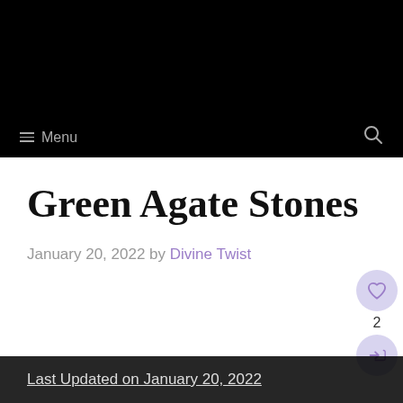Menu
Green Agate Stones
January 20, 2022 by Divine Twist
Last Updated on January 20, 2022